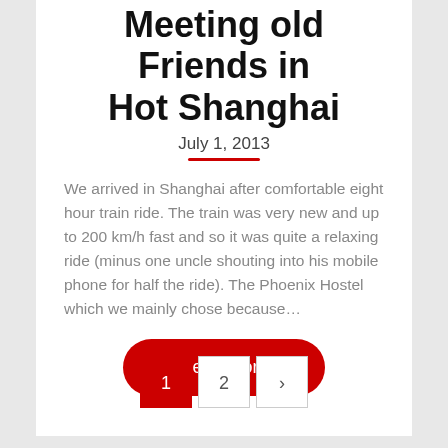Meeting old Friends in Hot Shanghai
July 1, 2013
We arrived in Shanghai after comfortable eight hour train ride. The train was very new and up to 200 km/h fast and so it was quite a relaxing ride (minus one uncle shouting into his mobile phone for half the ride). The Phoenix Hostel which we mainly chose because...
Read More
1  2  >